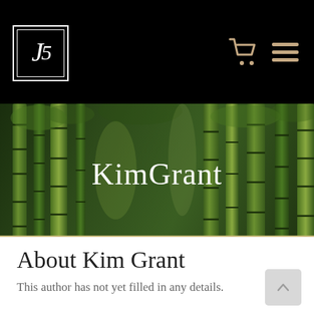JS logo, shopping cart icon, hamburger menu icon
[Figure (illustration): Bamboo forest background banner with 'KimGrant' text overlaid in white serif font]
About Kim Grant
This author has not yet filled in any details.